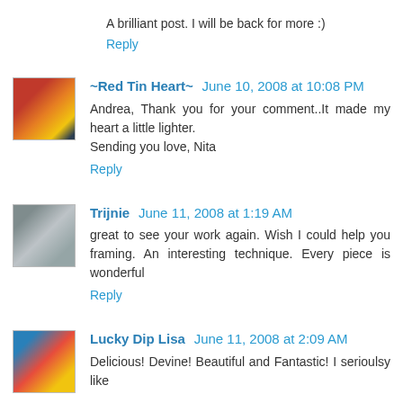A brilliant post. I will be back for more :)
Reply
~Red Tin Heart~ June 10, 2008 at 10:08 PM
Andrea, Thank you for your comment..It made my heart a little lighter.
Sending you love, Nita
Reply
Trijnie June 11, 2008 at 1:19 AM
great to see your work again. Wish I could help you framing. An interesting technique. Every piece is wonderful
Reply
Lucky Dip Lisa June 11, 2008 at 2:09 AM
Delicious! Devine! Beautiful and Fantastic! I serioulsy like